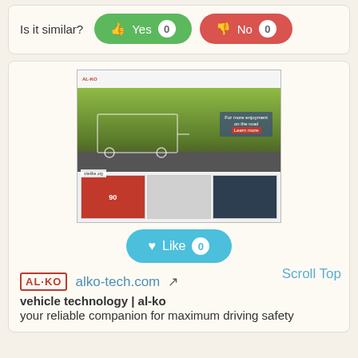Is it similar?
[Figure (screenshot): Screenshot of alko-tech.com website showing a caravan/trailer hero image with products below]
Scroll Top
Like 0
alko-tech.com
vehicle technology | al-ko
your reliable companion for maximum driving safety